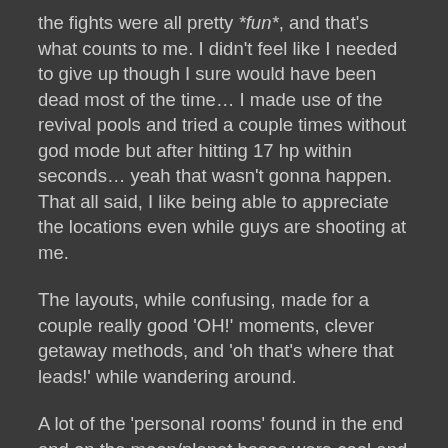the fights were all pretty *fun*, and that's what counts to me. I didn't feel like I needed to give up though I sure would have been dead most of the time… I made use of the revival pools and tried a couple times without god mode but after hitting 17 hp within seconds… yeah that wasn't gonna happen. That all said, I like being able to appreciate the locations even while guys are shooting at me.
The layouts, while confusing, made for a couple really good 'OH!' moments, clever getaway methods, and 'oh that's where that leads!' while wandering around.
A lot of the 'personal rooms' found in the end and on the moon/planet bases were cool and felt quite lived-in, artistic, a place that I'd like to kind of sit around after a day